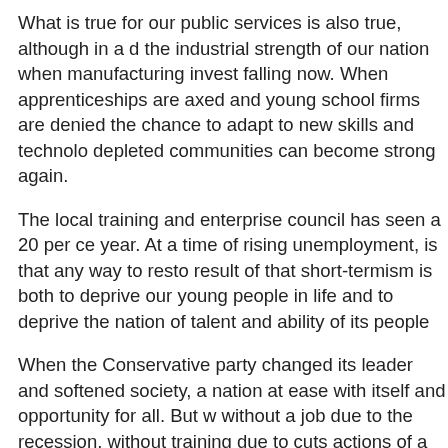What is true for our public services is also true, although in a different way, for the industrial strength of our nation when manufacturing investment is falling now. When apprenticeships are axed and young school leavers and firms are denied the chance to adapt to new skills and technologies, depleted communities can become strong again.
The local training and enterprise council has seen a 20 per cent cut this year. At a time of rising unemployment, is that any way to restore hope? The result of that short-termism is both to deprive our young people of a proper start in life and to deprive the nation of talent and ability of its people.
When the Conservative party changed its leader and softened its language on society, a nation at ease with itself and opportunity for all. But what opportunity without a job due to the recession, without training due to cuts and with the actions of a Social Security Minister who is now Prime Minister?
What opportunity is there for the thousands in my constituency who are in poverty and living on the margins of our society? What ease is there for those in work, if our industrial base, and, therefore, our economic future
In truth, there cannot be hope, or opportunity or ease unless w